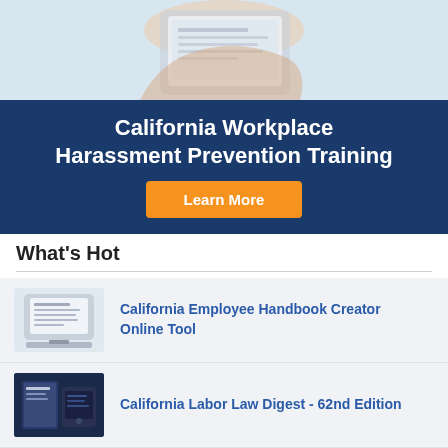[Figure (photo): Top banner image showing hands on a laptop/tablet on a light blue background]
California Workplace Harassment Prevention Training
Learn More
What's Hot
[Figure (photo): Thumbnail image of a tablet device showing an employee handbook]
California Employee Handbook Creator Online Tool
[Figure (photo): Thumbnail image of California Labor Law Digest book and digital device]
California Labor Law Digest - 62nd Edition
[Figure (photo): Thumbnail image of a woman smiling, representing CalChamber membership]
CalChamber Preferred Membership